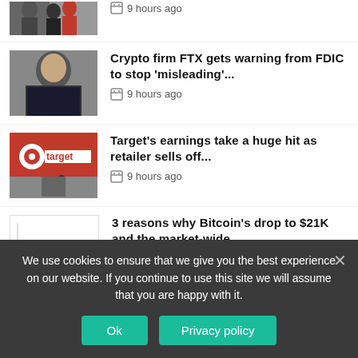[Figure (photo): Partial news thumbnail of people, cropped at top]
9 hours ago
[Figure (photo): Photo of a young man (Sam Bankman-Fried) in a dark shirt]
Crypto firm FTX gets warning from FDIC to stop 'misleading'...
9 hours ago
[Figure (photo): Target store front with red Target logo and person walking]
Target's earnings take a huge hit as retailer sells off...
9 hours ago
[Figure (line-chart): Red line chart showing Bitcoin price movement, volatile with ups and downs]
3 reasons why Bitcoin's drop to $21K and the market-wide...
9 hours ago
We use cookies to ensure that we give you the best experience on our website. If you continue to use this site we will assume that you are happy with it.